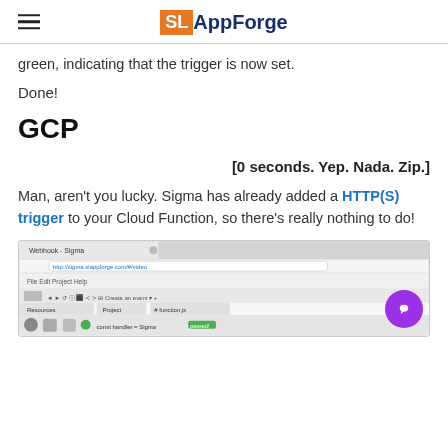SL AppForge
green, indicating that the trigger is now set.
Done!
GCP
[0 seconds. Yep. Nada. Zip.]
Man, aren't you lucky. Sigma has already added a HTTP(S) trigger to your Cloud Function, so there's really nothing to do!
[Figure (screenshot): Screenshot of a browser window showing a Sigma/AppForge webhook interface with a chat bubble overlay]